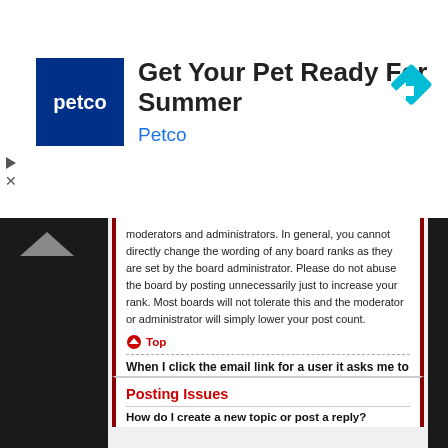[Figure (illustration): Petco advertisement banner: 'Get Your Pet Ready For Summer' with Petco logo (dark blue square with white petco text), ad headline, blue Petco brand name, and a cyan/teal diamond-shaped navigation arrow icon on the right side.]
moderators and administrators. In general, you cannot directly change the wording of any board ranks as they are set by the board administrator. Please do not abuse the board by posting unnecessarily just to increase your rank. Most boards will not tolerate this and the moderator or administrator will simply lower your post count.
Top
When I click the email link for a user it asks me to login?
Only registered users can send email to other users via the built-in email form, and only if the administrator has enabled this feature. This is to prevent malicious use of the email system by anonymous users.
Top
Posting Issues
How do I create a new topic or post a reply?